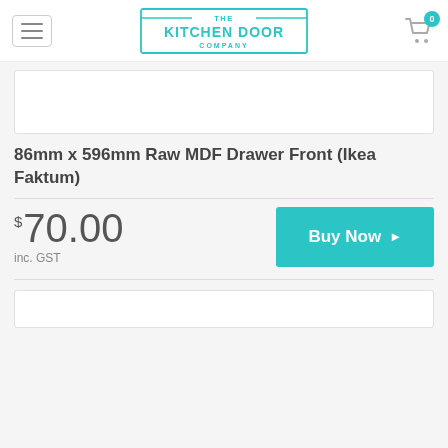[Figure (logo): The Kitchen Door Company logo with teal border rectangle and teal text]
[Figure (photo): Product image placeholder (white box)]
86mm x 596mm Raw MDF Drawer Front (Ikea Faktum)
$70.00
inc. GST
[Figure (other): Buy Now button with teal background]
[Figure (photo): Bottom image area placeholder (white box)]